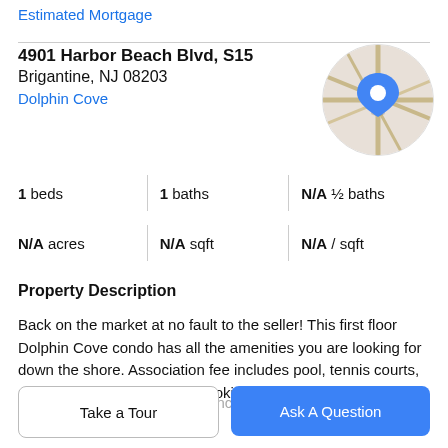Estimated Mortgage
4901 Harbor Beach Blvd, S15
Brigantine, NJ 08203
Dolphin Cove
[Figure (map): Circular map thumbnail with blue location pin marker]
1 beds | 1 baths | N/A ½ baths
N/A acres | N/A sqft | N/A / sqft
Property Description
Back on the market at no fault to the seller! This first floor Dolphin Cove condo has all the amenities you are looking for down the shore. Association fee includes pool, tennis courts, pickleball courts, heat, gas cooking, Direct TV,
water, sewer, and flood insurance. LOW TAXES! Ranch,
Take a Tour
Ask A Question